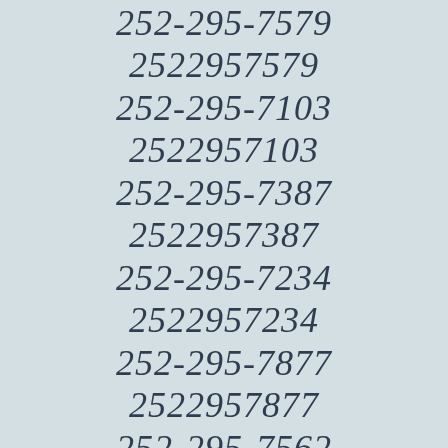252-295-7579
2522957579
252-295-7103
2522957103
252-295-7387
2522957387
252-295-7234
2522957234
252-295-7877
2522957877
252-295-7562
2522957562
252-295-7017
2522957017
252-295-7764
2522957764